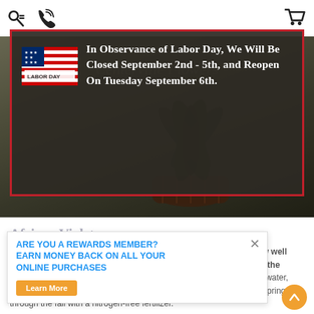Navigation header with search, phone, and cart icons
[Figure (photo): Hero photo of an indoor plant (dark-leafed tropical plant in a wicker basket) on a white table, with a semi-transparent dark overlay. Watermark text 'Centerville Flowers' visible faintly. A modal popup with a red border overlays the image containing a Labor Day closure notice with a US flag/Labor Day graphic.]
In Observance of Labor Day, We Will Be Closed September 2nd - 5th, and Reopen On Tuesday September 6th.
African Violets
ARE YOU A REWARDS MEMBER? EARN MONEY BACK ON ALL YOUR ONLINE PURCHASES
A small plant which may bloom at anytime. These beauties will grow well under fluorescent light, and like bright, indirect sunlight. Cut off the flowers after the bloom dies and provide good ventilation. Don't overwater, and keep the soil evenly moist at all times. Feed monthly during the spring through the fall with a nitrogen-free fertilizer.
Learn More